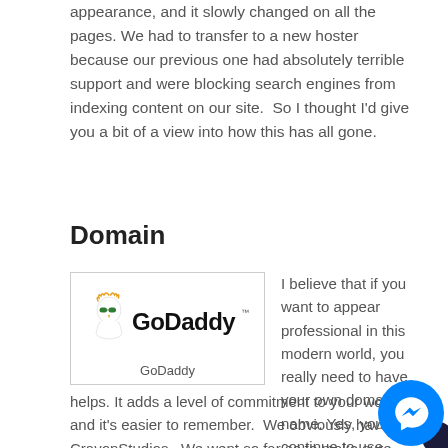appearance, and it slowly changed on all the pages. We had to transfer to a new hoster because our previous one had absolutely terrible support and were blocking search engines from indexing content on our site.  So I thought I'd give you a bit of a view into how this has all gone.
Domain
[Figure (logo): GoDaddy logo with cartoon character and bold text]
GoDaddy
I believe that if you want to appear professional in this modern world, you really need to have your own domain name. Yes, you can continue to use me@gmail.com, or outlook.com or whatever, but having your own domain name really helps. It adds a level of commitment to your work, and it's easier to remember.  We obviously have CravonStudios.  We went so far as to make sure that our associated social media channels are the same. Twitter is @CravonStudios, page is facebook.com/CravonStudios, Instagram is